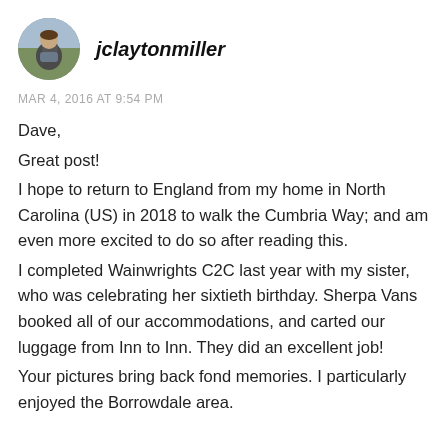[Figure (photo): Circular avatar photo of a person wearing a backpack outdoors]
jclaytonmiller
MAR 4, 2016 AT 9:54 PM
Dave,
Great post!
I hope to return to England from my home in North Carolina (US) in 2018 to walk the Cumbria Way; and am even more excited to do so after reading this.
I completed Wainwrights C2C last year with my sister, who was celebrating her sixtieth birthday. Sherpa Vans booked all of our accommodations, and carted our luggage from Inn to Inn. They did an excellent job!
Your pictures bring back fond memories. I particularly enjoyed the Borrowdale area.